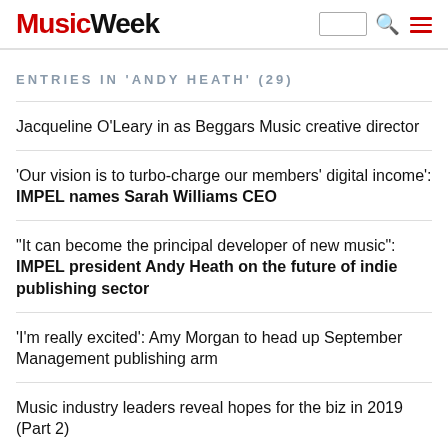Music Week
ENTRIES IN 'ANDY HEATH' (29)
Jacqueline O'Leary in as Beggars Music creative director
'Our vision is to turbo-charge our members' digital income': IMPEL names Sarah Williams CEO
"It can become the principal developer of new music": IMPEL president Andy Heath on the future of indie publishing sector
'I'm really excited': Amy Morgan to head up September Management publishing arm
Music industry leaders reveal hopes for the biz in 2019 (Part 2)